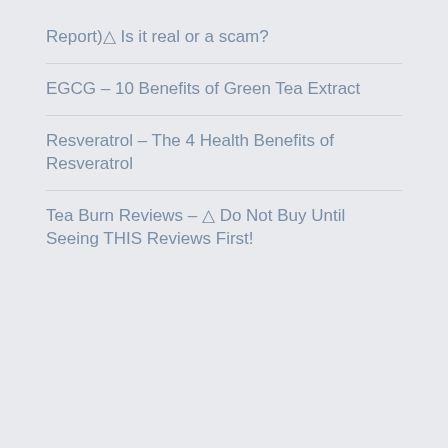Report)⚠ Is it real or a scam?
EGCG – 10 Benefits of Green Tea Extract
Resveratrol – The 4 Health Benefits of Resveratrol
Tea Burn Reviews – ⚠ Do Not Buy Until Seeing THIS Reviews First!